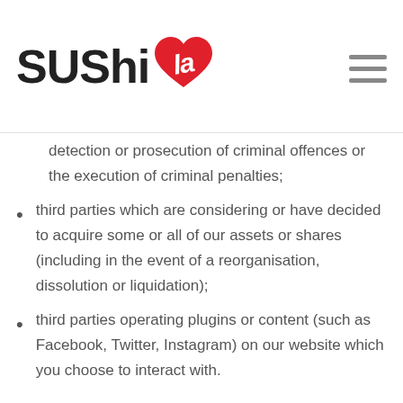Sushi La
detection or prosecution of criminal offences or the execution of criminal penalties;
third parties which are considering or have decided to acquire some or all of our assets or shares (including in the event of a reorganisation, dissolution or liquidation);
third parties operating plugins or content (such as Facebook, Twitter, Instagram) on our website which you choose to interact with.
Use of data processors and further